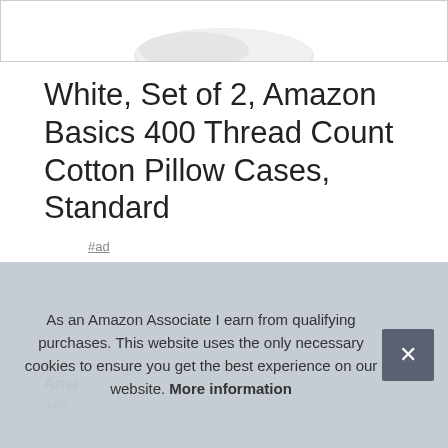[Figure (photo): Top portion of product image showing white pillow cases on light background, partially cropped]
White, Set of 2, Amazon Basics 400 Thread Count Cotton Pillow Cases, Standard
#ad
[Figure (photo): Row of four product thumbnail images showing white pillow cases from various angles, partially overlaid by cookie notice]
Ama
inde
As an Amazon Associate I earn from qualifying purchases. This website uses the only necessary cookies to ensure you get the best experience on our website. More information